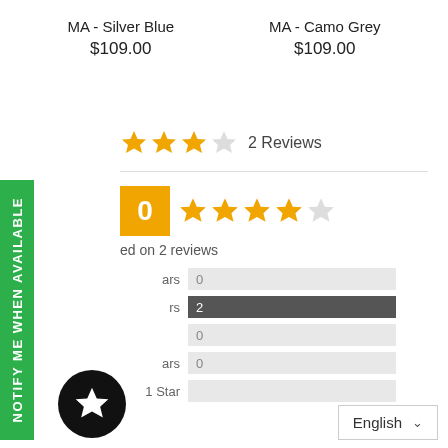MA - Silver Blue
$109.00
MA - Camo Grey
$109.00
2 Reviews
NOTIFY ME WHEN AVAILABLE
ed on 2 reviews
5 Stars 0
4 Stars 2
3 Stars 0
2 Stars 0
1 Star
English